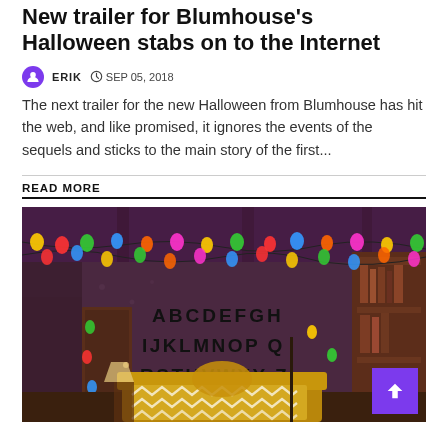New trailer for Blumhouse's Halloween stabs on to the Internet
ERIK  SEP 05, 2018
The next trailer for the new Halloween from Blumhouse has hit the web, and like promised, it ignores the events of the sequels and sticks to the main story of the first...
READ MORE
[Figure (photo): A room decorated with colorful string lights hanging from the ceiling, with the alphabet written on the wall in large black letters: ABCDEFGH IJKLMNOP Q RSTUVWXY Z. A couch with a chevron-patterned yellow and white blanket sits in the foreground. Wooden bookshelves are visible on the right. The scene is reminiscent of the TV show Stranger Things.]